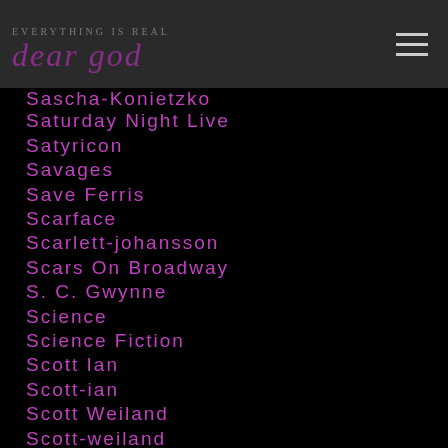dear god
Sascha-Konietzko
Saturday Night Live
Satyricon
Savages
Save Ferris
Scarface
Scarlett-johansson
Scars On Broadway
S. C. Gwynne
Science
Science Fiction
Scott Ian
Scott-ian
Scott Weiland
Scott-weiland
Scotty-cranmer
Scream